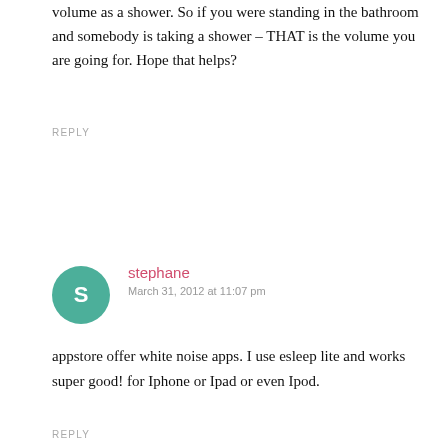volume as a shower. So if you were standing in the bathroom and somebody is taking a shower – THAT is the volume you are going for. Hope that helps?
REPLY
stephane
March 31, 2012 at 11:07 pm
appstore offer white noise apps. I use esleep lite and works super good! for Iphone or Ipad or even Ipod.
REPLY